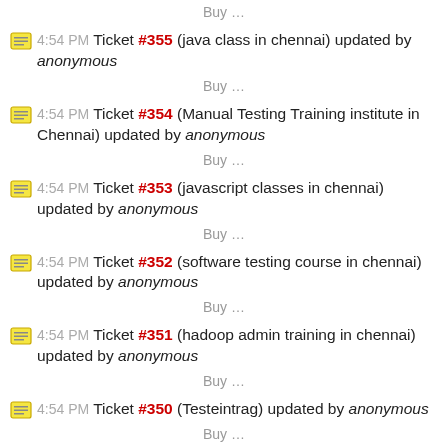Buy …
4:54 PM Ticket #355 (java class in chennai) updated by anonymous
Buy …
4:54 PM Ticket #354 (Manual Testing Training institute in Chennai) updated by anonymous
Buy …
4:54 PM Ticket #353 (javascript classes in chennai) updated by anonymous
Buy …
4:54 PM Ticket #352 (software testing course in chennai) updated by anonymous
Buy …
4:54 PM Ticket #351 (hadoop admin training in chennai) updated by anonymous
Buy …
4:54 PM Ticket #350 (Testeintrag) updated by anonymous
Buy …